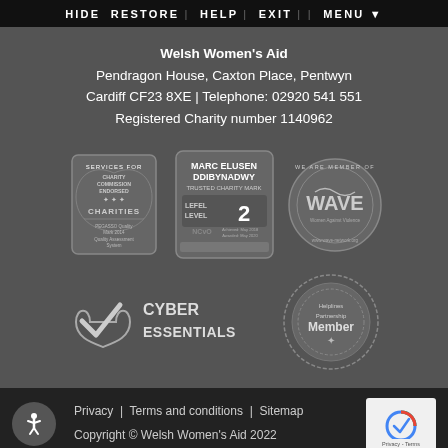HIDE  RESTORE  |  HELP  |  EXIT  |  |  MENU  ▼
Welsh Women's Aid
Pendragon House, Caxton Place, Pentwyn
Cardiff CF23 8XE | Telephone: 02920 541 551
Registered Charity number 1140962
[Figure (logo): Services for Charities - Charity Commission Endorsed badge, Marc Elusen Ddibynadwy Trusted Charity Mark Lefel Level 2 NCVO badge, We Are Member Of WAVE badge]
[Figure (logo): Cyber Essentials badge with checkmark logo, Helplines Partnership Member circular badge]
Privacy  |  Terms and conditions  |  Sitemap
Copyright © Welsh Women's Aid 2022